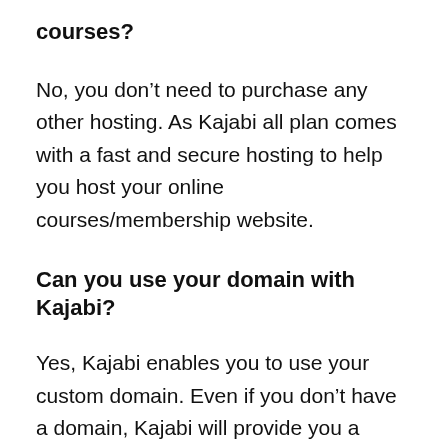courses?
No, you don’t need to purchase any other hosting. As Kajabi all plan comes with a fast and secure hosting to help you host your online courses/membership website.
Can you use your domain with Kajabi?
Yes, Kajabi enables you to use your custom domain. Even if you don’t have a domain, Kajabi will provide you a domain with its branding... example.mykajabi.com